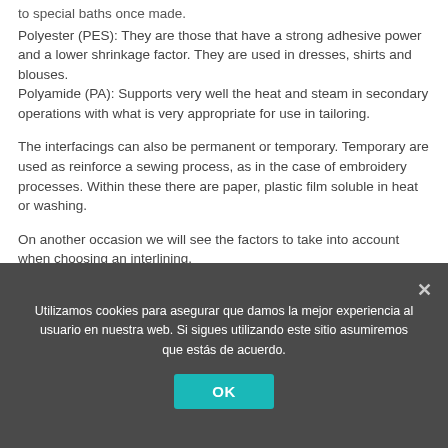to special baths once made.
Polyester (PES): They are those that have a strong adhesive power and a lower shrinkage factor. They are used in dresses, shirts and blouses.
Polyamide (PA): Supports very well the heat and steam in secondary operations with what is very appropriate for use in tailoring.
The interfacings can also be permanent or temporary. Temporary are used as reinforce a sewing process, as in the case of embroidery processes. Within these there are paper, plastic film soluble in heat or washing.
On another occasion we will see the factors to take into account when choosing an interlining.
Utilizamos cookies para asegurar que damos la mejor experiencia al usuario en nuestra web. Si sigues utilizando este sitio asumiremos que estás de acuerdo.